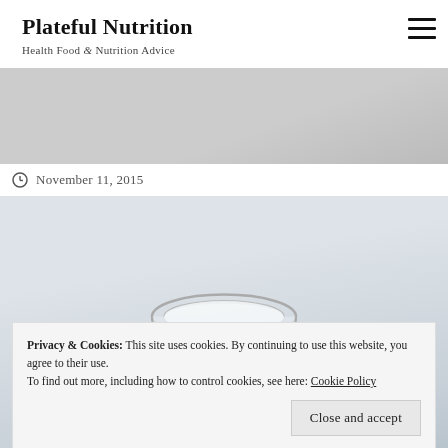Plateful Nutrition
Health Food & Nutrition Advice
[Figure (photo): Partial top image, light grey/beige background, partially visible]
November 11, 2015
[Figure (photo): Photo of a glass bowl on a light marble surface]
Privacy & Cookies: This site uses cookies. By continuing to use this website, you agree to their use.
To find out more, including how to control cookies, see here: Cookie Policy
Close and accept